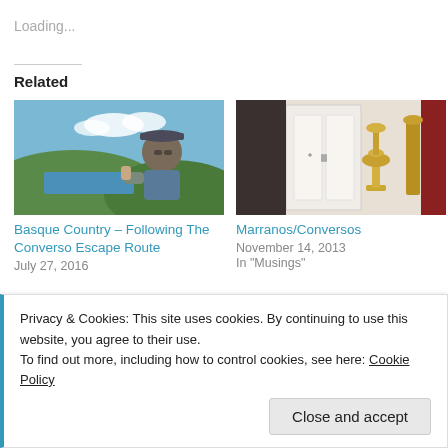Loading...
Related
[Figure (photo): Man with glasses and cap giving thumbs up outdoors near river and hills]
Basque Country – Following The Converso Escape Route
July 27, 2016
[Figure (photo): Ornate golden candlestick in a room with white cabinet doors]
Marranos/Conversos
November 14, 2013
In "Musings"
Privacy & Cookies: This site uses cookies. By continuing to use this website, you agree to their use.
To find out more, including how to control cookies, see here: Cookie Policy
Close and accept